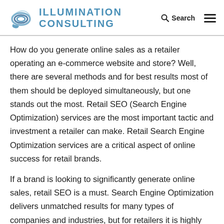Illumination Consulting | Search
How do you generate online sales as a retailer operating an e-commerce website and store? Well, there are several methods and for best results most of them should be deployed simultaneously, but one stands out the most. Retail SEO (Search Engine Optimization) services are the most important tactic and investment a retailer can make. Retail Search Engine Optimization services are a critical aspect of online success for retail brands.
If a brand is looking to significantly generate online sales, retail SEO is a must. Search Engine Optimization delivers unmatched results for many types of companies and industries, but for retailers it is highly effective. It allows buyers to see an e-commerce website and products in real time as they are looking and shopping. Unlike paid ads,